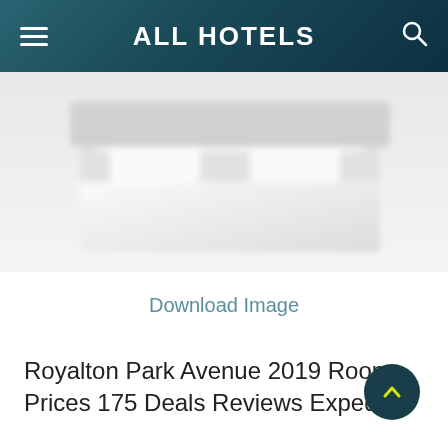ALL HOTELS
[Figure (photo): Partial view of a hotel room bed with white linens, faded/blurred style, cropped at top of page]
Download Image
Royalton Park Avenue 2019 Room Prices 175 Deals Reviews Expedia